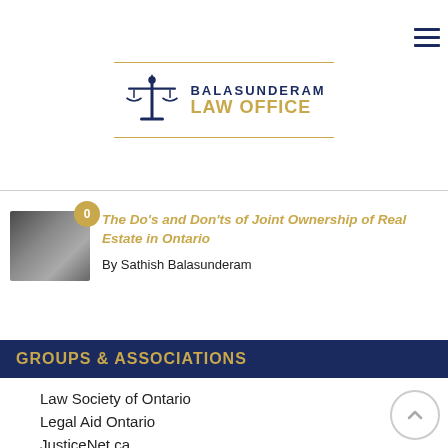[Figure (logo): Balasunderam Law Office logo with scales of justice icon, gold and navy text]
[Figure (photo): Thumbnail photo of people in a business/legal setting]
The Do's and Don'ts of Joint Ownership of Real Estate in Ontario
By Sathish Balasunderam
GROUPS & ASSOCIATIONS
Law Society of Ontario
Legal Aid Ontario
JusticeNet.ca